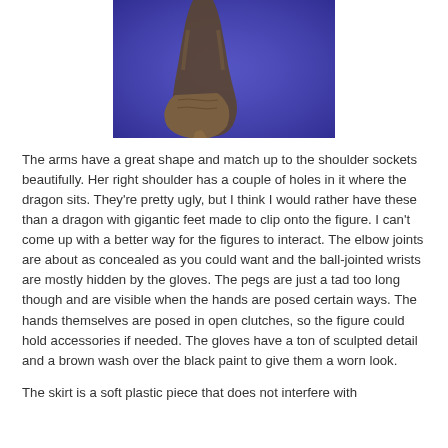[Figure (photo): Close-up photo of a dark-colored action figure arm/hand wearing a brown glove, against a purple/blue background. The hand is posed with fingers pointing downward.]
The arms have a great shape and match up to the shoulder sockets beautifully. Her right shoulder has a couple of holes in it where the dragon sits. They're pretty ugly, but I think I would rather have these than a dragon with gigantic feet made to clip onto the figure. I can't come up with a better way for the figures to interact. The elbow joints are about as concealed as you could want and the ball-jointed wrists are mostly hidden by the gloves. The pegs are just a tad too long though and are visible when the hands are posed certain ways. The hands themselves are posed in open clutches, so the figure could hold accessories if needed. The gloves have a ton of sculpted detail and a brown wash over the black paint to give them a worn look.
The skirt is a soft plastic piece that does not interfere with